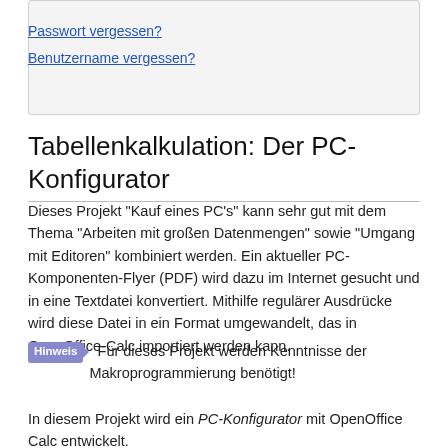Passwort vergessen?
Benutzername vergessen?
Tabellenkalkulation: Der PC-Konfigurator
Dieses Projekt "Kauf eines PC's" kann sehr gut mit dem Thema "Arbeiten mit großen Datenmengen" sowie "Umgang mit Editoren" kombiniert werden. Ein aktueller PC-Komponenten-Flyer (PDF) wird dazu im Internet gesucht und in eine Textdatei konvertiert. Mithilfe regulärer Ausdrücke wird diese Datei in ein Format umgewandelt, das in OpenOffice-Calc importiert werden kann.
Hinweis  Für dieses Projekt werden Kenntnisse der Makroprogrammierung benötigt!
In diesem Projekt wird ein PC-Konfigurator mit OpenOffice Calc entwickelt.